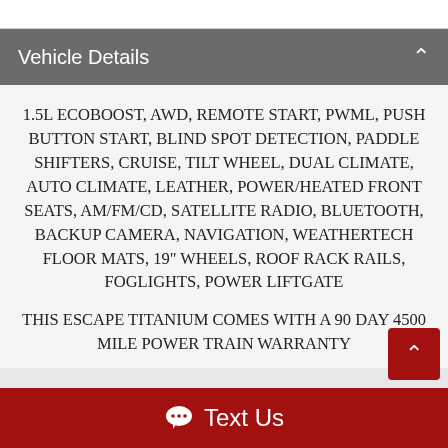Vehicle Details
1.5L ECOBOOST, AWD, REMOTE START, PWML, PUSH BUTTON START, BLIND SPOT DETECTION, PADDLE SHIFTERS, CRUISE, TILT WHEEL, DUAL CLIMATE, AUTO CLIMATE, LEATHER, POWER/HEATED FRONT SEATS, AM/FM/CD, SATELLITE RADIO, BLUETOOTH, BACKUP CAMERA, NAVIGATION, WEATHERTECH FLOOR MATS, 19" WHEELS, ROOF RACK RAILS, FOGLIGHTS, POWER LIFTGATE
THIS ESCAPE TITANIUM COMES WITH A 90 DAY 4500 MILE POWER TRAIN WARRANTY
Text Us